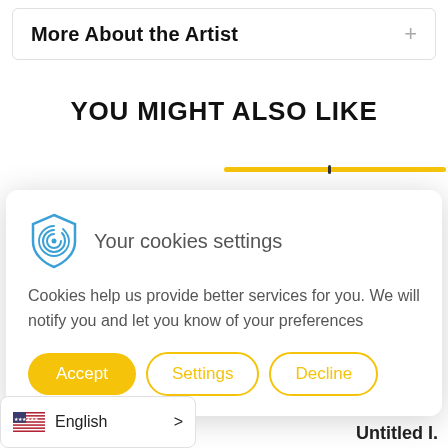More About the Artist
YOU MIGHT ALSO LIKE
[Figure (screenshot): Cookie consent modal with fingerprint shield icon, text about cookies, and three buttons: Accept (yellow filled), Settings (yellow outline), Decline (yellow outline)]
Your cookies settings
Cookies help us provide better services for you. We will notify you and let you know of your preferences
Accept
Settings
Decline
English
Untitled I.